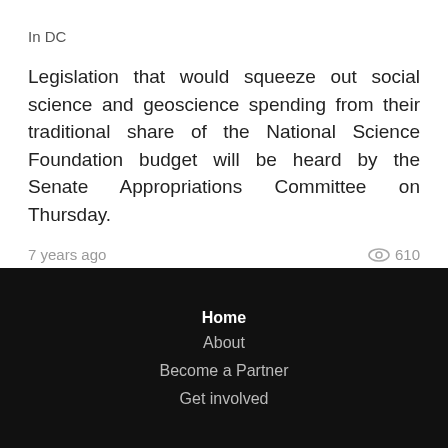In DC
Legislation that would squeeze out social science and geoscience spending from their traditional share of the National Science Foundation budget will be heard by the Senate Appropriations Committee on Thursday.
7 years ago   610
Home
About
Become a Partner
Get involved